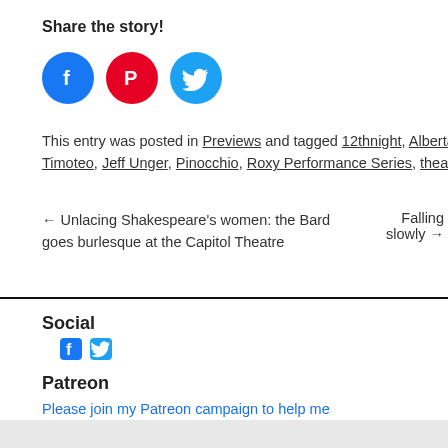Share the story!
[Figure (other): Three social sharing icon circles: Facebook (blue), Pinterest (red), Twitter (light blue)]
This entry was posted in Previews and tagged 12thnight, Alberta Opera, Carl... Timoteo, Jeff Unger, Pinocchio, Roxy Performance Series, theatre for young...
← Unlacing Shakespeare's women: the Bard goes burlesque at the Capitol Theatre    Falling slowly →
Social
[Figure (other): Small Facebook and Twitter icons]
Patreon
Please join my Patreon campaign to help me continue 12thnight theatre coverage!
12thNight.ca